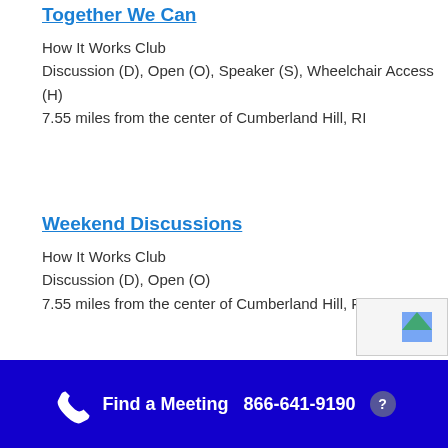Together We Can
How It Works Club
Discussion (D), Open (O), Speaker (S), Wheelchair Access (H)
7.55 miles from the center of Cumberland Hill, RI
Weekend Discussions
How It Works Club
Discussion (D), Open (O)
7.55 miles from the center of Cumberland Hill, RI
Find a Meeting  866-641-9190